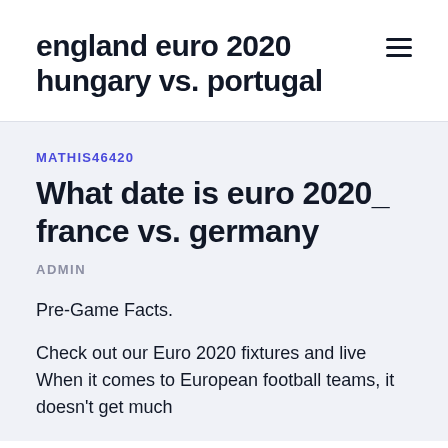england euro 2020 hungary vs. portugal
MATHIS46420
What date is euro 2020_ france vs. germany
ADMIN
Pre-Game Facts.
Check out our Euro 2020 fixtures and live  When it comes to European football teams, it doesn't get much